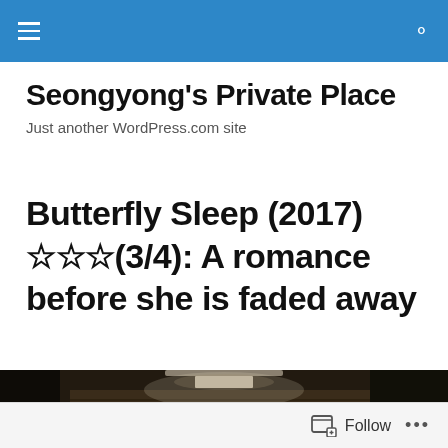Seongyong's Private Place — site navigation bar
Seongyong's Private Place
Just another WordPress.com site
Butterfly Sleep (2017) ☆☆☆(3/4): A romance before she is faded away
[Figure (photo): Dark cinematic still from the film Butterfly Sleep (2017) showing two people in low-key lighting beneath a hanging lamp]
Follow  •••